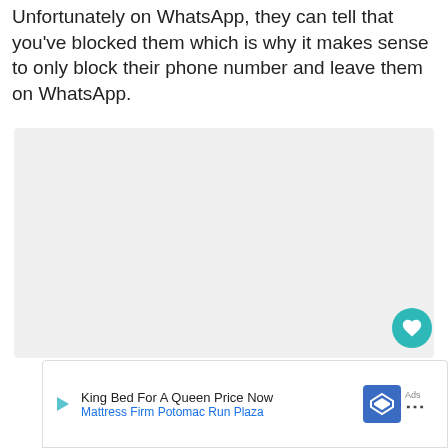Unfortunately on WhatsApp, they can tell that you've blocked them which is why it makes sense to only block their phone number and leave them on WhatsApp.
[Figure (other): Gray placeholder box for an image or advertisement content area]
[Figure (other): Teal circular heart/favorite button]
[Figure (other): Advertisement bar: King Bed For A Queen Price Now - Mattress Firm Potomac Run Plaza, with play button, map/navigation icon, and dots icon]